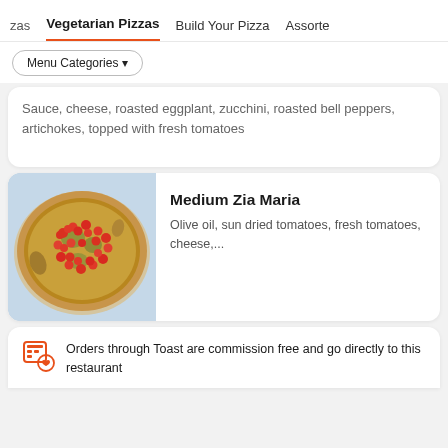zas  Vegetarian Pizzas  Build Your Pizza  Assorte
Menu Categories ▼
Sauce, cheese, roasted eggplant, zucchini, roasted bell peppers, artichokes, topped with fresh tomatoes
[Figure (photo): A pizza topped with sun dried tomatoes, fresh tomatoes, and cheese on a white plate]
Medium Zia Maria
Olive oil, sun dried tomatoes, fresh tomatoes, cheese,...
Orders through Toast are commission free and go directly to this restaurant